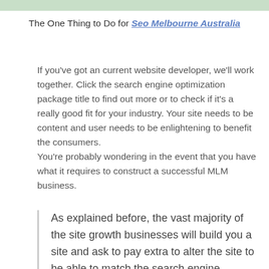The One Thing to Do for Seo Melbourne Australia
If you've got an current website developer, we'll work together. Click the search engine optimization package title to find out more or to check if it's a really good fit for your industry. Your site needs to be content and user needs to be enlightening to benefit the consumers.
You're probably wondering in the event that you have what it requires to construct a successful MLM business.
As explained before, the vast majority of the site growth businesses will build you a site and ask to pay extra to alter the site to be able to match the search engine